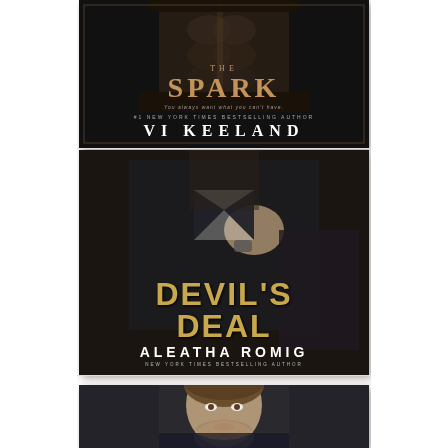[Figure (illustration): Book cover: 'The Spark' by Vi Keeland. Dark cover with shirtless male torso, gold/copper title text, white author name.]
[Figure (illustration): Book cover: 'Devil's Deal' by Aleatha Romig. Dark cover with man in suit touching collar, gold title text, white author name.]
[Figure (photo): Partial photo of a man with short brown hair in dark clothing, serious expression, cropped at bottom of page.]